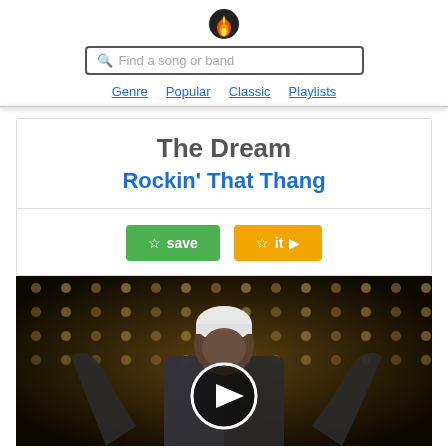Find a song or band
Genre
Popular
Classic
Playlists
The Dream
Rockin' That Thang
save  |  it
[Figure (photo): Music artist performing on stage with arms raised, wearing a white beanie and metallic jacket, against a backdrop of lights, with a white circular play button overlay in the center]